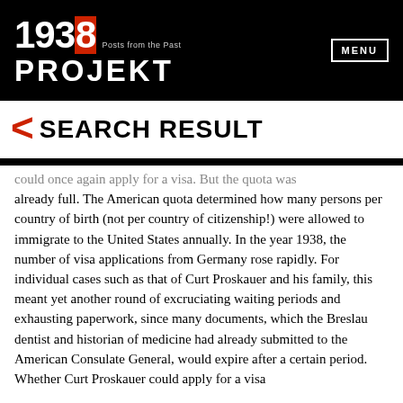[Figure (logo): 1938 Projekt logo with red highlighted '8', tagline 'Posts from the Past', and MENU button on black header bar]
< SEARCH RESULT
could once again apply for a visa. But the quota was already full. The American quota determined how many persons per country of birth (not per country of citizenship!) were allowed to immigrate to the United States annually. In the year 1938, the number of visa applications from Germany rose rapidly. For individual cases such as that of Curt Proskauer and his family, this meant yet another round of excruciating waiting periods and exhausting paperwork, since many documents, which the Breslau dentist and historian of medicine had already submitted to the American Consulate General, would expire after a certain period. Whether Curt Proskauer could apply for a visa again, then, depended on...